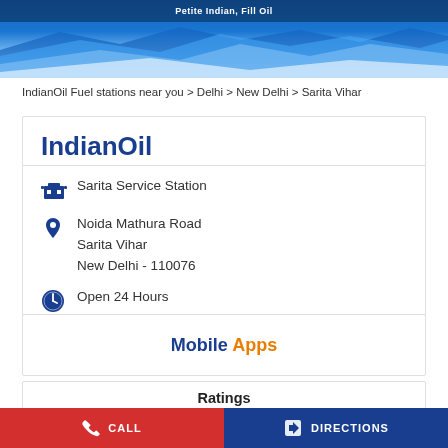Petite Indian, Fill Oil
IndianOil Fuel stations near you > Delhi > New Delhi > Sarita Vihar
IndianOil
Sarita Service Station
Noida Mathura Road
Sarita Vihar
New Delhi - 110076
Open 24 Hours
Mobile Apps
Ratings
CALL    DIRECTIONS